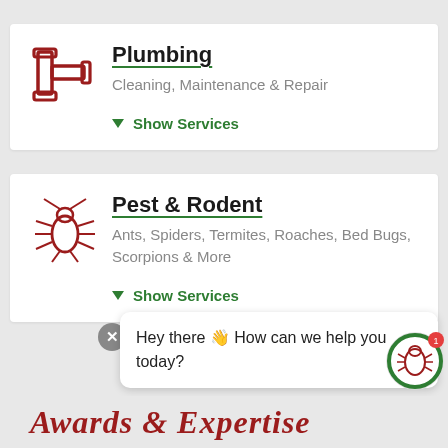Plumbing
Cleaning, Maintenance & Repair
▼ Show Services
[Figure (illustration): Red pipe/plumbing icon]
Pest & Rodent
Ants, Spiders, Termites, Roaches, Bed Bugs, Scorpions & More
▼ Show Services
[Figure (illustration): Red bug/pest icon]
Hey there 👋 How can we help you today?
Awards & Expertise